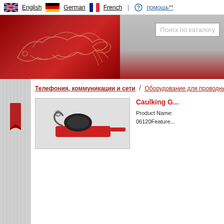English | German | French | помощь**
[Figure (screenshot): Website header banner with Chinese dragon on red background and search box 'Поиск по каталогу']
[Figure (illustration): Red bookmark/tab icon in left sidebar]
Телефония, коммуникации и сети / Оборудование для проводных с...
[Figure (photo): Photo of a caulking gun / tool with red handle, partially visible]
Caulking G...
Product Name: 06120Feature...